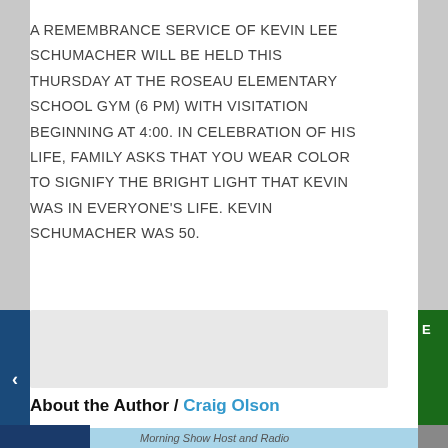A REMEMBRANCE SERVICE OF KEVIN LEE SCHUMACHER WILL BE HELD THIS THURSDAY AT THE ROSEAU ELEMENTARY SCHOOL GYM (6 PM) WITH VISITATION BEGINNING AT 4:00. IN CELEBRATION OF HIS LIFE, FAMILY ASKS THAT YOU WEAR COLOR TO SIGNIFY THE BRIGHT LIGHT THAT KEVIN WAS IN EVERYONE'S LIFE. KEVIN SCHUMACHER WAS 50.
About the Author / Craig Olson
Morning Show Host and Radio